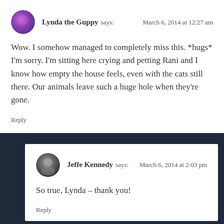Lynda the Guppy says:   March 6, 2014 at 12:27 am
Wow. I somehow managed to completely miss this. *hugs* I'm sorry. I'm sitting here crying and petting Rani and I know how empty the house feels, even with the cats still there. Our animals leave such a huge hole when they're gone.
Reply
Jeffe Kennedy says:   March 6, 2014 at 2:03 pm
So true, Lynda – thank you!
Reply